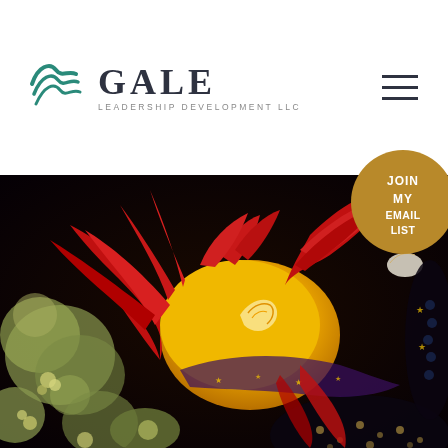[Figure (logo): Gale Leadership Development LLC logo with teal wave/leaf graphic and company name]
[Figure (illustration): Colorful folk-art style illustration of a firebird/phoenix with red and gold feathers on a dark background with floral elements]
JOIN MY EMAIL LIST